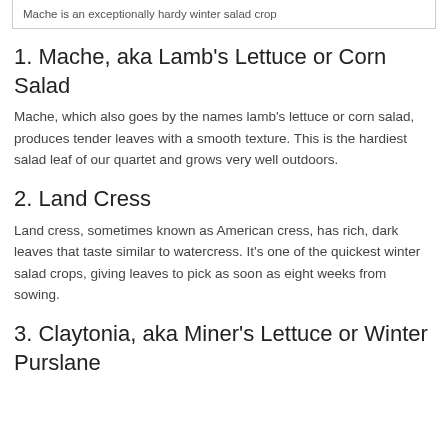Mache is an exceptionally hardy winter salad crop
1. Mache, aka Lamb's Lettuce or Corn Salad
Mache, which also goes by the names lamb's lettuce or corn salad, produces tender leaves with a smooth texture. This is the hardiest salad leaf of our quartet and grows very well outdoors.
2. Land Cress
Land cress, sometimes known as American cress, has rich, dark leaves that taste similar to watercress. It’s one of the quickest winter salad crops, giving leaves to pick as soon as eight weeks from sowing.
3. Claytonia, aka Miner’s Lettuce or Winter Purslane